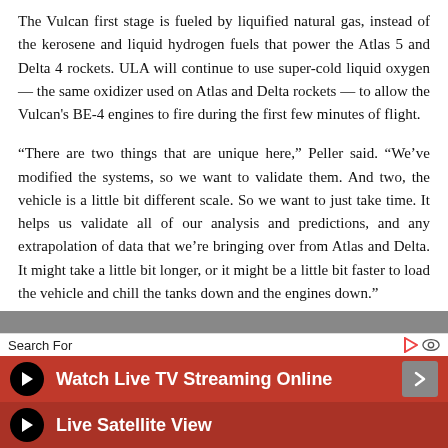The Vulcan first stage is fueled by liquified natural gas, instead of the kerosene and liquid hydrogen fuels that power the Atlas 5 and Delta 4 rockets. ULA will continue to use super-cold liquid oxygen — the same oxidizer used on Atlas and Delta rockets — to allow the Vulcan's BE-4 engines to fire during the first few minutes of flight.
“There are two things that are unique here,” Peller said. “We’ve modified the systems, so we want to validate them. And two, the vehicle is a little bit different scale. So we want to just take time. It helps us validate all of our analysis and predictions, and any extrapolation of data that we’re bringing over from Atlas and Delta. It might take a little bit longer, or it might be a little bit faster to load the vehicle and chill the tanks down and the engines down.”
[Figure (screenshot): Advertisement banner: Search For bar, Watch Live TV Streaming Online button, Live Satellite View button]